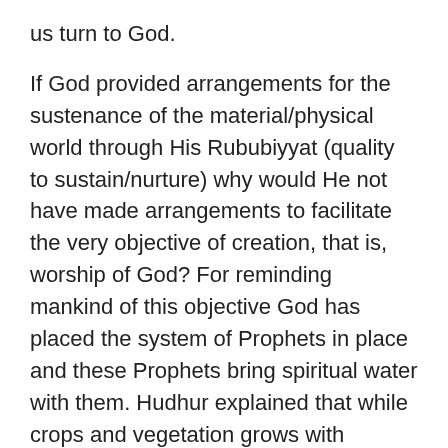us turn to God.
If God provided arrangements for the sustenance of the material/physical world through His Rububiyyat (quality to sustain/nurture) why would He not have made arrangements to facilitate the very objective of creation, that is, worship of God? For reminding mankind of this objective God has placed the system of Prophets in place and these Prophets bring spiritual water with them. Hudhur explained that while crops and vegetation grows with physical water, it also makes weed to sprout. In places the intended vegetation is overtaken by the weeds. With scientific developments many ways and means are now used to control the weeds, however, in places they can destroy a crop. So while rain is of benefit to vegetation in that it